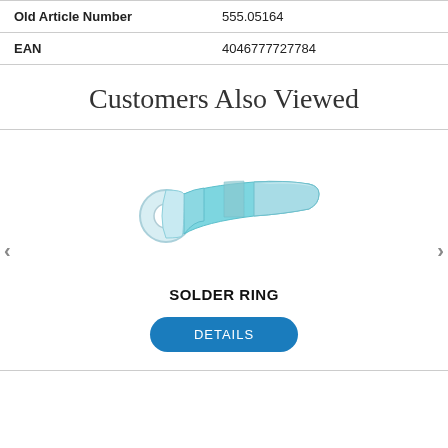| Old Article Number | 555.05164 |
| EAN | 4046777727784 |
Customers Also Viewed
[Figure (photo): A blue solder ring / ring terminal connector with a circular hole at one end and a blue heat-shrink barrel at the other end.]
SOLDER RING
DETAILS